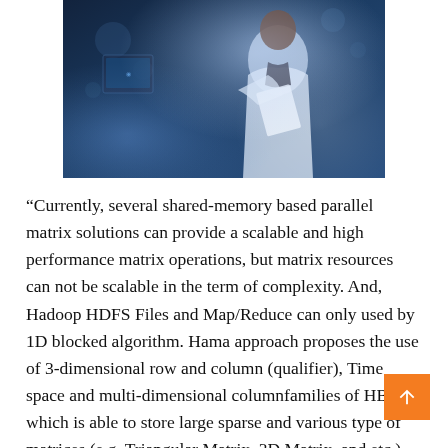[Figure (photo): A person in a white lab coat holding documents in a laboratory setting with blue-toned lighting and equipment in the background]
“Currently, several shared-memory based parallel matrix solutions can provide a scalable and high performance matrix operations, but matrix resources can not be scalable in the term of complexity. And, Hadoop HDFS Files and Map/Reduce can only used by 1D blocked algorithm. Hama approach proposes the use of 3-dimensional row and column (qualifier), Time space and multi-dimensional columnfamilies of HBase, which is able to store large sparse and various type of matrices (e.g. Triangular Matrix, 3D Matrix, and etc.) and uti… the 2D blocked algorithm. its auto-partitioned spar… sub-structure will be efficiently managed and serviced